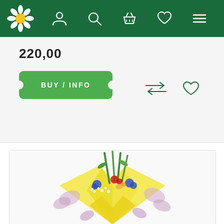Flower shop website navigation bar
220,00
BUY / INFO
[Figure (photo): A colorful flower bouquet wrapped in yellow and butterfly-patterned tissue paper, containing blue, red, and white flowers with tall green stems, photographed on a white background.]